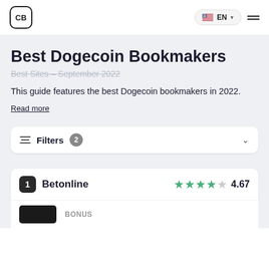CB | EN
Best Dogecoin Bookmakers
Best Sites – September 2022
This guide features the best Dogecoin bookmakers in 2022.
Read more
Filters 2
1  Betonline  4.67
BONUS